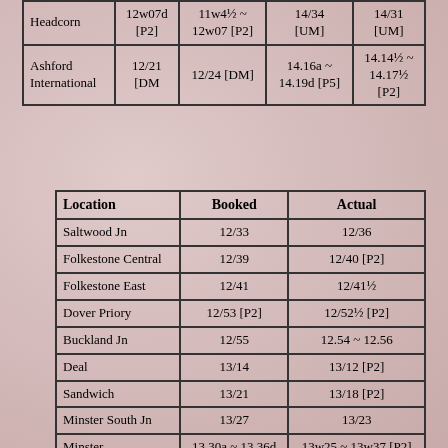|  |  |  |  |  |
| --- | --- | --- | --- | --- |
| Headcorn | 12w07d [P2] | 11w4½ ~ 12w07 [P2] | 14/34 [UM] | 14/31 [UM] |
| Ashford International | 12/21 [DM | 12/24 [DM] | 14.16a ~ 14.19d [P5] | 14.14½ ~ 14.17½ [P2] |
| Location | Booked | Actual |
| --- | --- | --- |
| Saltwood Jn | 12/33 | 12/36 |
| Folkestone Central | 12/39 | 12/40 [P2] |
| Folkestone East | 12/41 | 12/41½ |
| Dover Priory | 12/53 [P2] | 12/52½ [P2] |
| Buckland Jn | 12/55 | 12.54 ~ 12.56 |
| Deal | 13/14 | 13/12 [P2] |
| Sandwich | 13/21 | 13/18 [P2] |
| Minster South Jn | 13/27 | 13/23 |
| Minster | 13.30a ~ 13.36d | 13w25 ~ 13w37 [P2] |
| Canterbury West | 13/51 [P1] | 13/54½ [P1] |
| Wye | 14/06 | 14/06 [P1] |